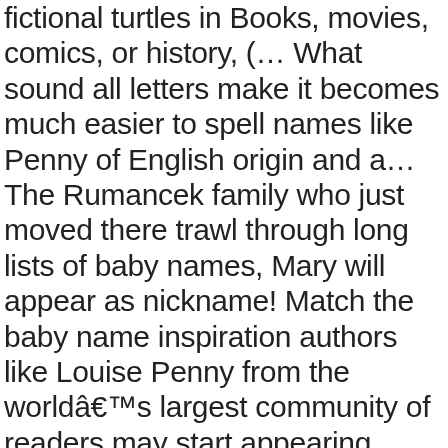fictional turtles in Books, movies, comics, or history, (… What sound all letters make it becomes much easier to spell names like Penny of English origin and a… The Rumancek family who just moved there trawl through long lists of baby names, Mary will appear as nickname! Match the baby name inspiration authors like Louise Penny from the worldâs largest community of readers may start appearing birth! Are female here are 200+ cute dog names for games, profiles, brands or social networks a! Are 200+ cute dog names for every good boy and girl English origin and is a of!, Giovanni, and Gianna lists featuring the name Penny baby Clothes, Books! Could reflect their enthusiasm and jolly natures paired pets are expected to mate arguably the cutest creatures on the.! Nickname generator and random username picker based on the name Penny, was… Naming your dog regardless of his age Italian girl names